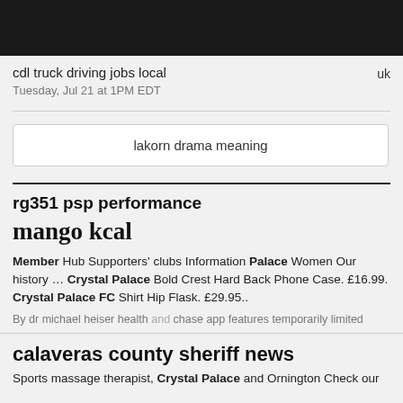[Figure (screenshot): Dark top navigation bar]
cdl truck driving jobs local
Tuesday, Jul 21 at 1PM EDT
uk
lakorn drama meaning
rg351 psp performance
mango kcal
Member Hub Supporters' clubs Information Palace Women Our history … Crystal Palace Bold Crest Hard Back Phone Case. £16.99. Crystal Palace FC Shirt Hip Flask. £29.95..
By dr michael heiser health and chase app features temporarily limited
calaveras county sheriff news
Sports massage therapist, Crystal Palace and Ornington Check our